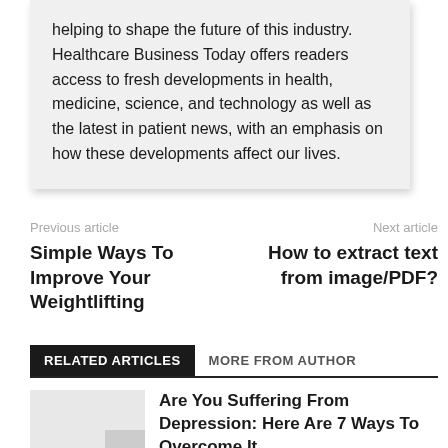helping to shape the future of this industry. Healthcare Business Today offers readers access to fresh developments in health, medicine, science, and technology as well as the latest in patient news, with an emphasis on how these developments affect our lives.
Previous article
Simple Ways To Improve Your Weightlifting
Next article
How to extract text from image/PDF?
RELATED ARTICLES   MORE FROM AUTHOR
Are You Suffering From Depression: Here Are 7 Ways To Overcome It
Patient Care